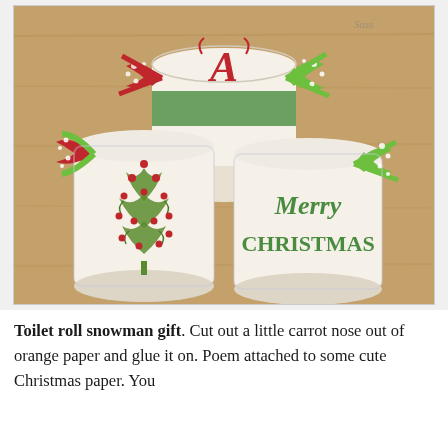[Figure (photo): Three toilet paper rolls wrapped in clear plastic and decorated with Christmas embroidery and polka-dot ribbons. Left roll has a green swirly Christmas tree with red dots and a red/green polka-dot bow. Center/back roll has a red decorative monogram letter 'A' on green background with red polka-dot bow. Right roll has 'Merry Christmas' in green text with a green polka-dot bow. Background is a light wood surface. Watermark reads 'Sass' in cursive.]
Toilet roll snowman gift. Cut out a little carrot nose out of orange paper and glue it on. Poem attached to some cute Christmas paper. You